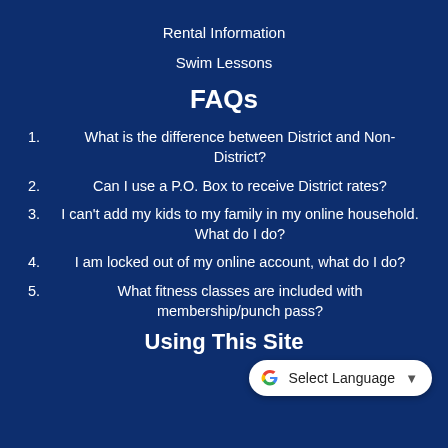Rental Information
Swim Lessons
FAQs
1. What is the difference between District and Non-District?
2. Can I use a P.O. Box to receive District rates?
3. I can't add my kids to my family in my online household. What do I do?
4. I am locked out of my online account, what do I do?
5. What fitness classes are included with membership/punch pass?
Using This Site